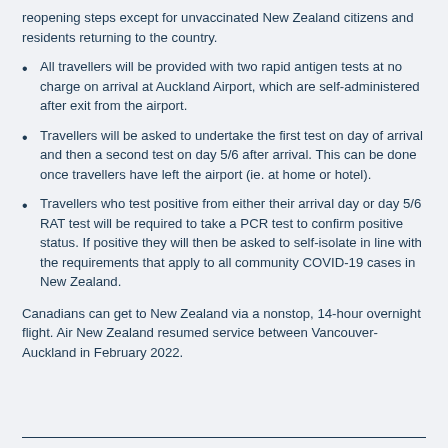reopening steps except for unvaccinated New Zealand citizens and residents returning to the country.
All travellers will be provided with two rapid antigen tests at no charge on arrival at Auckland Airport, which are self-administered after exit from the airport.
Travellers will be asked to undertake the first test on day of arrival and then a second test on day 5/6 after arrival. This can be done once travellers have left the airport (ie. at home or hotel).
Travellers who test positive from either their arrival day or day 5/6 RAT test will be required to take a PCR test to confirm positive status. If positive they will then be asked to self-isolate in line with the requirements that apply to all community COVID-19 cases in New Zealand.
Canadians can get to New Zealand via a nonstop, 14-hour overnight flight. Air New Zealand resumed service between Vancouver-Auckland in February 2022.